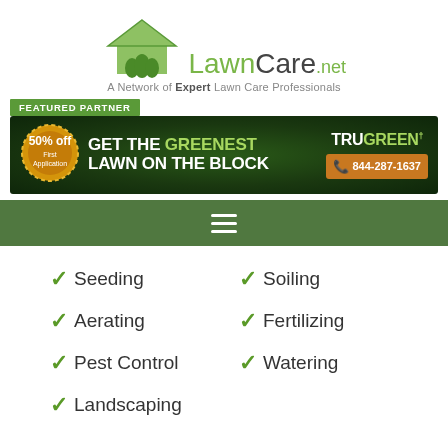[Figure (logo): LawnCare.net logo with house and grass icon, tagline: A Network of Expert Lawn Care Professionals]
[Figure (infographic): TruGreen featured partner banner: GET THE GREENEST LAWN ON THE BLOCK, 50% off First Application, 844-287-1637]
[Figure (infographic): Green navigation bar with hamburger menu icon]
✓ Seeding
✓ Soiling
✓ Aerating
✓ Fertilizing
✓ Pest Control
✓ Watering
✓ Landscaping